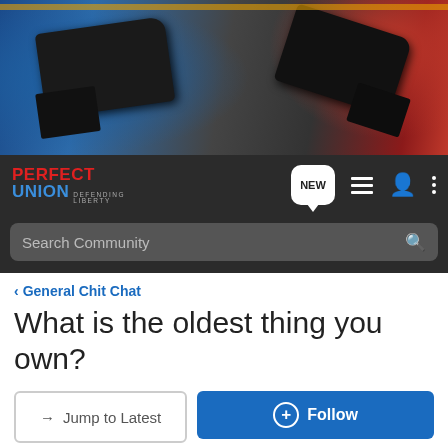[Figure (photo): Hero image showing firearms/guns in holsters against blue and red background]
[Figure (logo): Perfect Union - Defending Liberty logo with nav icons including NEW speech bubble, list icon, person icon, and more options]
Search Community
< General Chit Chat
What is the oldest thing you own?
→ Jump to Latest
+ Follow
1 - 14 of 14 Posts
Kevin · Premium Member
Joined Dec 9, 2010 · 1,712 Posts